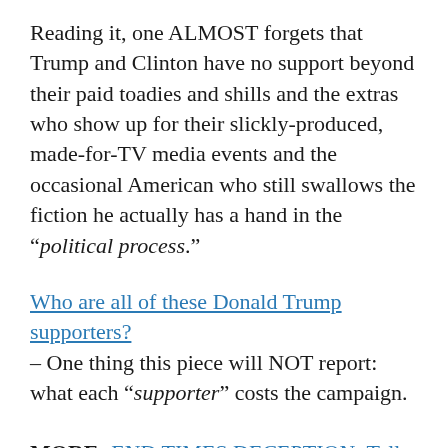Reading it, one ALMOST forgets that Trump and Clinton have no support beyond their paid toadies and shills and the extras who show up for their slickly-produced, made-for-TV media events and the occasional American who still swallows the fiction he actually has a hand in the "political process."
Who are all of these Donald Trump supporters? – One thing this piece will NOT report: what each "supporter" costs the campaign.
MORE: END TIMES DECEPTION: Tell Me a Story
Woman gives birth to son using her mom's womb